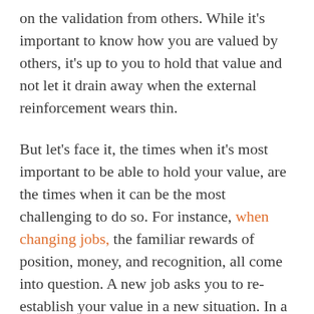on the validation from others. While it's important to know how you are valued by others, it's up to you to hold that value and not let it drain away when the external reinforcement wears thin.
But let's face it, the times when it's most important to be able to hold your value, are the times when it can be the most challenging to do so. For instance, when changing jobs, the familiar rewards of position, money, and recognition, all come into question. A new job asks you to re-establish your value in a new situation. In a very real way, you need to prove yourself under new circumstances. Holding your value is essential in these situations but it